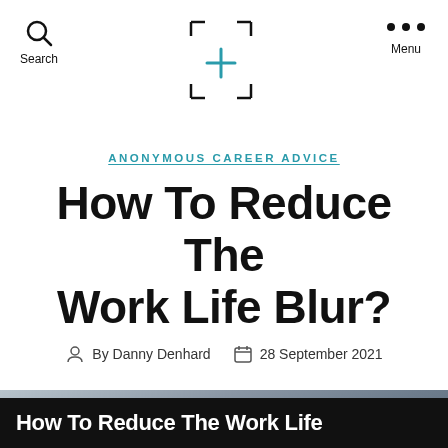Search  +  Menu
ANONYMOUS CAREER ADVICE
How To Reduce The Work Life Blur?
By Danny Denhard  28 September 2021
[Figure (photo): Blurred grey-blue sky/background image]
How To Reduce The Work Life